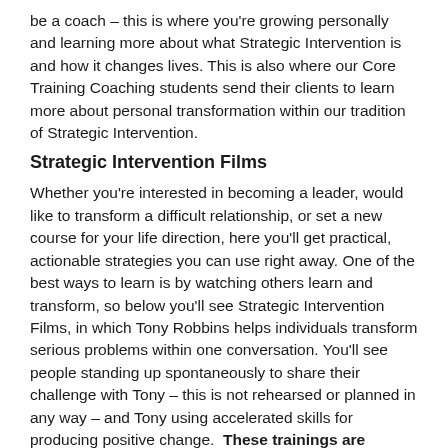be a coach – this is where you're growing personally and learning more about what Strategic Intervention is and how it changes lives. This is also where our Core Training Coaching students send their clients to learn more about personal transformation within our tradition of Strategic Intervention.
Strategic Intervention Films
Whether you're interested in becoming a leader, would like to transform a difficult relationship, or set a new course for your life direction, here you'll get practical, actionable strategies you can use right away. One of the best ways to learn is by watching others learn and transform, so below you'll see Strategic Intervention Films, in which Tony Robbins helps individuals transform serious problems within one conversation. You'll see people standing up spontaneously to share their challenge with Tony – this is not rehearsed or planned in any way – and Tony using accelerated skills for producing positive change. These trainings are available on a temporary basis and may be replaced at any time, so I hope you enjoy this selection today.
Making Key Decisions